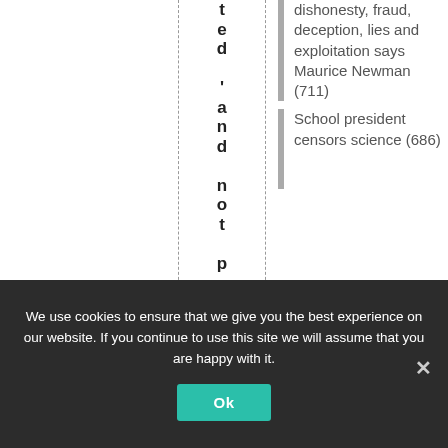ted 'and not published
dishonesty, fraud, deception, lies and exploitation says Maurice Newman (711)
School president censors science (686)
We use cookies to ensure that we give you the best experience on our website. If you continue to use this site we will assume that you are happy with it. Ok